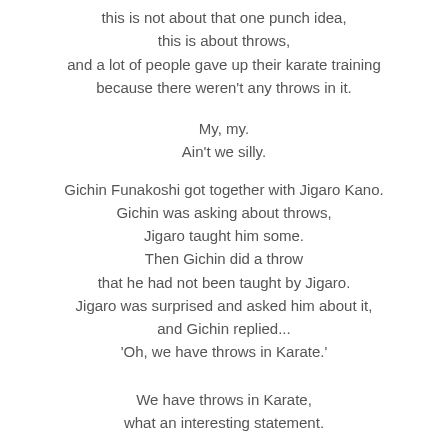this is not about that one punch idea,
this is about throws,
and a lot of people gave up their karate training
because there weren't any throws in it.
My, my.
Ain't we silly.
Gichin Funakoshi got together with Jigaro Kano.
Gichin was asking about throws,
Jigaro taught him some.
Then Gichin did a throw
that he had not been taught by Jigaro.
Jigaro was surprised and asked him about it,
and Gichin replied...
'Oh, we have throws in Karate.'
We have throws in Karate,
what an interesting statement.